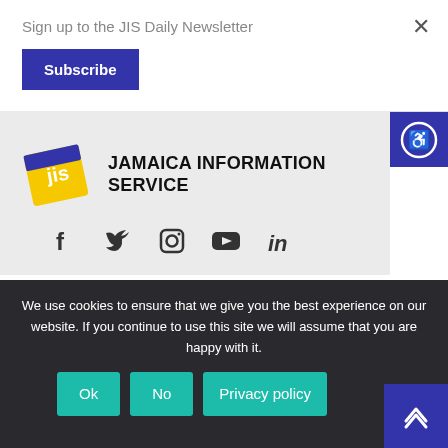Sign up to the JIS Daily Newsletter
Subscribe
[Figure (logo): JIS Jamaica Information Service logo with yellow and blue diagonal stamp design]
JAMAICA INFORMATION SERVICE
[Figure (infographic): Social media icons: Facebook, Twitter, Instagram, YouTube, LinkedIn]
NEWS
We use cookies to ensure that we give you the best experience on our website. If you continue to use this site we will assume that you are happy with it.
Ok  No  Privacy policy